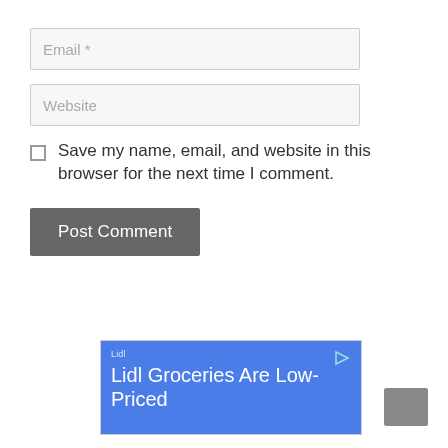Email *
Website
Save my name, email, and website in this browser for the next time I comment.
Post Comment
[Figure (screenshot): Lidl advertisement banner with blue background showing 'Lidl Groceries Are Low-Priced']